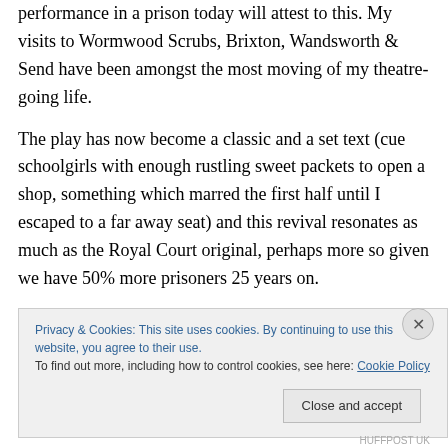performance in a prison today will attest to this. My visits to Wormwood Scrubs, Brixton, Wandsworth & Send have been amongst the most moving of my theatre-going life.
The play has now become a classic and a set text (cue schoolgirls with enough rustling sweet packets to open a shop, something which marred the first half until I escaped to a far away seat) and this revival resonates as much as the Royal Court original, perhaps more so given we have 50% more prisoners 25 years on.
It's performed very well by a cast of 10 playing multiple
Privacy & Cookies: This site uses cookies. By continuing to use this website, you agree to their use.
To find out more, including how to control cookies, see here: Cookie Policy
Close and accept